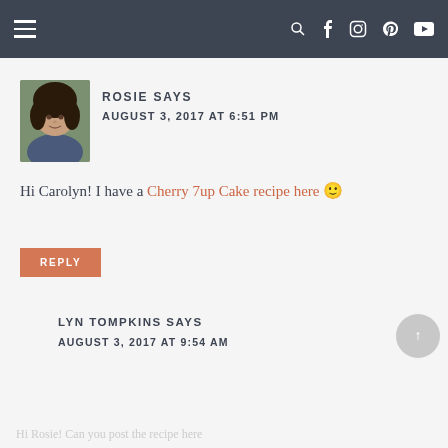Navigation bar with hamburger menu and social icons
[Figure (photo): Profile photo of Rosie, a woman with curly dark hair]
ROSIE SAYS
AUGUST 3, 2017 AT 6:51 PM
Hi Carolyn! I have a Cherry 7up Cake recipe here 🙂
REPLY
LYN TOMPKINS SAYS
AUGUST 3, 2017 AT 9:54 AM